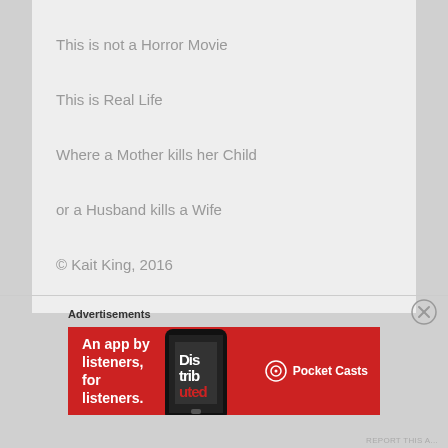This is not a Horror Movie
This is Real Life
Where a Mother kills her Child
or a Husband kills a Wife
© Kait King, 2016
Advertisements
[Figure (other): Advertisement banner for Pocket Casts app: red background with text 'An app by listeners, for listeners.' and Pocket Casts logo, with a phone image showing app.]